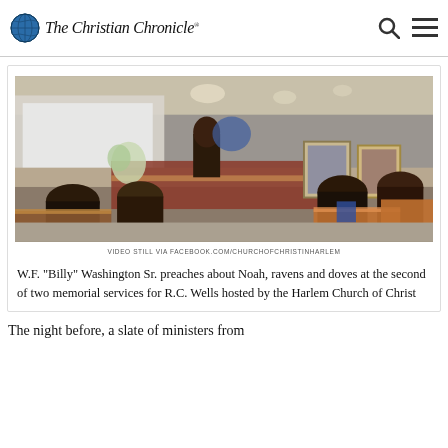The Christian Chronicle
[Figure (photo): Interior of a church sanctuary during a memorial service. A minister preaches at a podium on the raised platform. Portraits of the deceased are displayed on easels. Congregation members are seated in wooden pews.]
VIDEO STILL VIA FACEBOOK.COM/CHURCHOFCHRISTINHARLEM
W.F. “Billy” Washington Sr. preaches about Noah, ravens and doves at the second of two memorial services for R.C. Wells hosted by the Harlem Church of Christ
The night before, a slate of ministers from